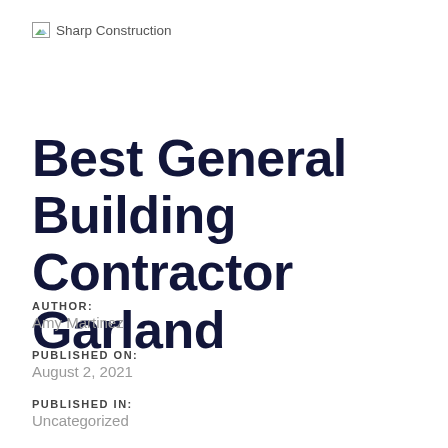Sharp Construction
Best General Building Contractor Garland
AUTHOR:
Amy Martinez
PUBLISHED ON:
August 2, 2021
PUBLISHED IN:
Uncategorized